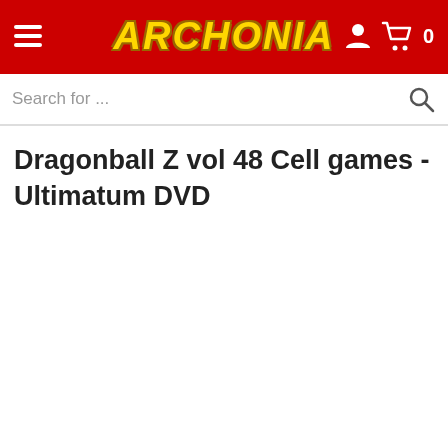ARCHONIA
Dragonball Z vol 48 Cell games - Ultimatum DVD